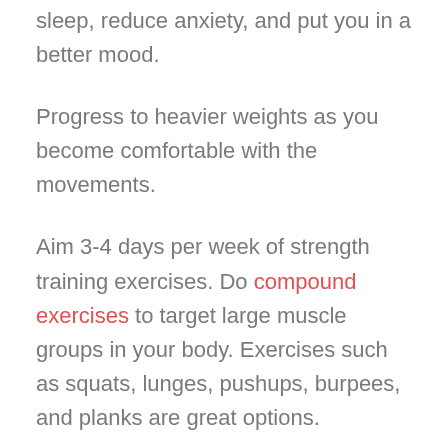sleep, reduce anxiety, and put you in a better mood.
Progress to heavier weights as you become comfortable with the movements.
Aim 3-4 days per week of strength training exercises. Do compound exercises to target large muscle groups in your body. Exercises such as squats, lunges, pushups, burpees, and planks are great options.